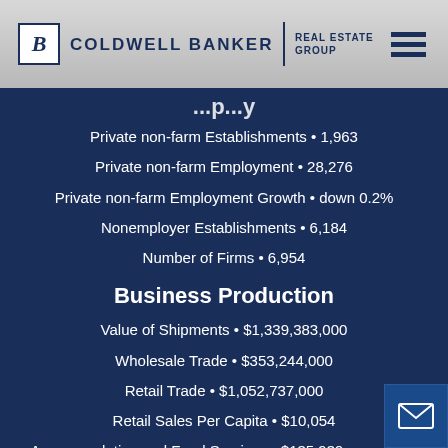Coldwell Banker Real Estate Group
Private non-farm Establishments • 1,963
Private non-farm Employment • 28,276
Private non-farm Employment Growth • down 0.2%
Nonemployer Establishments • 6,184
Number of Firms • 6,954
Business Production
Value of Shipments • $1,339,383,000
Wholesale Trade • $353,244,000
Retail Trade • $1,052,737,000
Retail Sales Per Capita • $10,054
Accommodation and Food Services • $135,939,